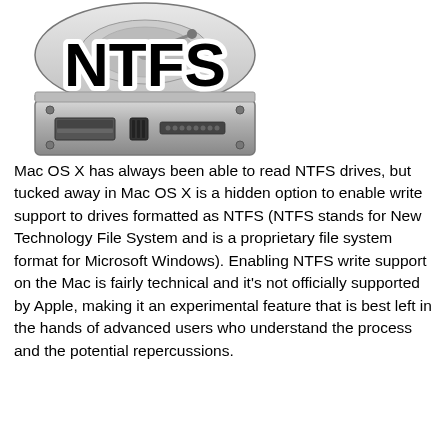[Figure (illustration): A hard disk drive with the text 'NTFS' in large bold black letters with white outline on top of it. The drive shows the rear connector ports and is rendered in silver/gray metallic style.]
Mac OS X has always been able to read NTFS drives, but tucked away in Mac OS X is a hidden option to enable write support to drives formatted as NTFS (NTFS stands for New Technology File System and is a proprietary file system format for Microsoft Windows). Enabling NTFS write support on the Mac is fairly technical and it’s not officially supported by Apple, making it an experimental feature that is best left in the hands of advanced users who understand the process and the potential repercussions.